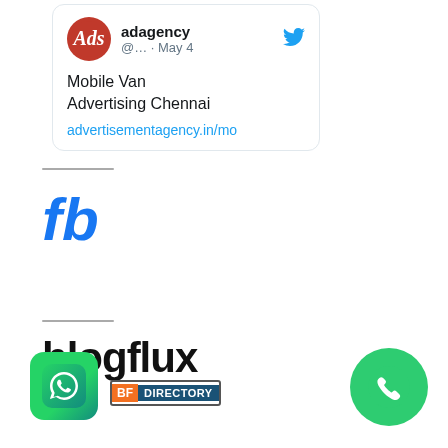[Figure (screenshot): Twitter/X card showing adagency account tweet about Mobile Van Advertising Chennai with link advertisementagency.in/mo]
[Figure (logo): Facebook 'fb' logo in blue italic bold text]
[Figure (logo): blogflux logo in bold black text]
[Figure (logo): WhatsApp app icon — green rounded square with white phone handset]
[Figure (logo): BF Directory badge — orange BF square and blue DIRECTORY text]
[Figure (logo): Green circular phone call button with white phone handset icon]